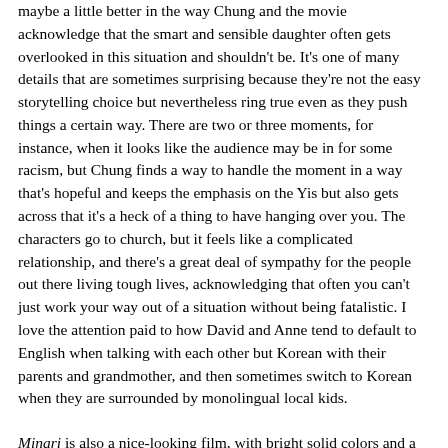maybe a little better in the way Chung and the movie acknowledge that the smart and sensible daughter often gets overlooked in this situation and shouldn't be. It's one of many details that are sometimes surprising because they're not the easy storytelling choice but nevertheless ring true even as they push things a certain way. There are two or three moments, for instance, when it looks like the audience may be in for some racism, but Chung finds a way to handle the moment in a way that's hopeful and keeps the emphasis on the Yis but also gets across that it's a heck of a thing to have hanging over you. The characters go to church, but it feels like a complicated relationship, and there's a great deal of sympathy for the people out there living tough lives, acknowledging that often you can't just work your way out of a situation without being fatalistic. I love the attention paid to how David and Anne tend to default to English when talking with each other but Korean with their parents and grandmother, and then sometimes switch to Korean when they are surrounded by monolingual local kids.
Minari is also a nice-looking film, with bright solid colors and a way of framing practical everyday things without overtly raising them to an elevated status during that observation.